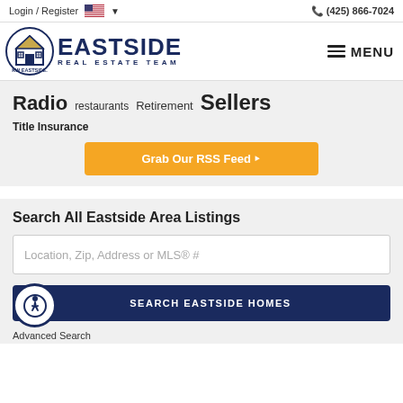Login / Register  (425) 866-7024
[Figure (logo): Eastside Real Estate Team logo with KW Eastside Keller Williams Realty circular emblem and bold EASTSIDE REAL ESTATE TEAM text]
Radio  restaurants  Retirement  Sellers
Title Insurance
Grab Our RSS Feed
Search All Eastside Area Listings
Location, Zip, Address or MLS® #
SEARCH EASTSIDE HOMES
Advanced Search